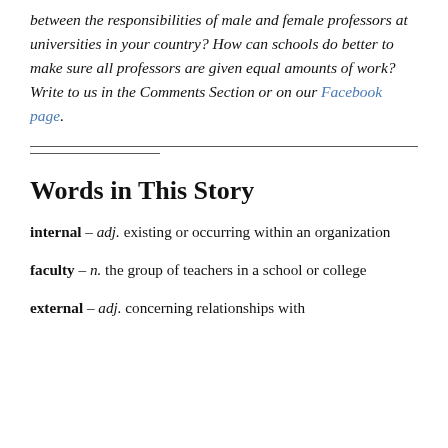between the responsibilities of male and female professors at universities in your country? How can schools do better to make sure all professors are given equal amounts of work? Write to us in the Comments Section or on our Facebook page.
Words in This Story
internal – adj. existing or occurring within an organization
faculty – n. the group of teachers in a school or college
external – adj. concerning relationships with